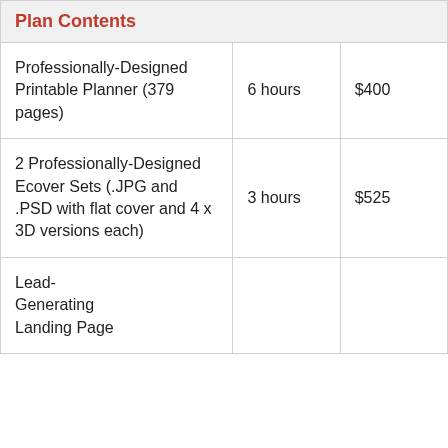| Plan Contents |  |  |
| --- | --- | --- |
| Professionally-Designed Printable Planner (379 pages) | 6 hours | $400 |
| 2 Professionally-Designed Ecover Sets (.JPG and .PSD with flat cover and 4 x 3D versions each) | 3 hours | $525 |
| Lead-Generating Landing Page |  |  |